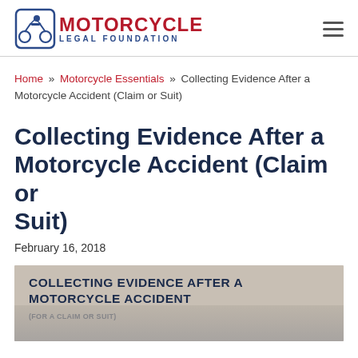Motorcycle Legal Foundation
Home » Motorcycle Essentials » Collecting Evidence After a Motorcycle Accident (Claim or Suit)
Collecting Evidence After a Motorcycle Accident (Claim or Suit)
February 16, 2018
[Figure (infographic): Banner image reading 'COLLECTING EVIDENCE AFTER A MOTORCYCLE ACCIDENT (FOR A CLAIM OR SUIT)' with a photo of a motorcycle accident scene below]